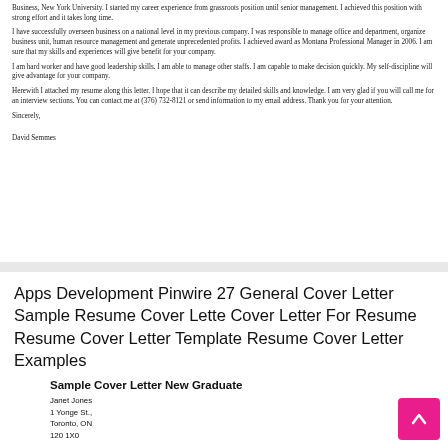Business, New York University. I started my career experience from grassroots position until senior management. I achieved this position with strong effort and it takes long time.
I have successfully overseen business on a national level in my previous company. I was responsible to manage office and department, organize business unit, human resource management and generate unprecedented profits. I achieved award as Montana Professional Manager in 2006. I am sure that my skills and experiences will give benefit for your company.
I am hard worker and have good leadership skills. I am able to manage other staffs. I am capable to make decision quickly. My self-discipline will give advantage for your company.
Herewith I attached my resume along this letter. I hope that it can describe my detailed skills and knowledge. I am very glad if you will call me for an interview sections. You can contact me at (376) 732-8121 or send information to my email address. Thank you for your attention.
Sincerely,
David Semmes
Apps Development Pinwire 27 General Cover Letter Sample Resume Cover Lette Cover Letter For Resume Resume Cover Letter Template Resume Cover Letter Examples
Sample Cover Letter New Graduate
Janet Jones
1 Yonge St.,
Toronto, ON
120 1X0